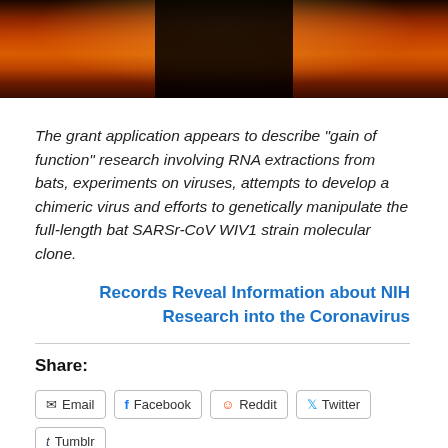[Figure (photo): Dark orange/red atmospheric photo with a black rectangular block in the center, suggesting fire or clouds in reddish-orange hues]
The grant application appears to describe “gain of function” research involving RNA extractions from bats, experiments on viruses, attempts to develop a chimeric virus and efforts to genetically manipulate the full-length bat SARSr-CoV WIV1 strain molecular clone.
Records Reveal Information about NIH Research into the Coronavirus
Share:
Email
Facebook
Reddit
Twitter
Tumblr
2 bloggers like this